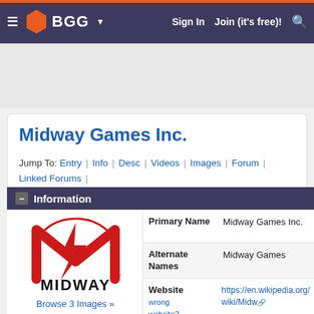BGG — Sign In | Join (it's free)! [search]
Midway Games Inc.
Jump To: Entry | Info | Desc | Videos | Images | Forum | Linked Forums | Linked Items | GeekLists | Blogs | Web Links | Tags
Information
[Figure (logo): Midway Games Inc. logo — red stylized M with lightning bolt and MIDWAY wordmark]
Browse 3 Images »
| Field | Value |
| --- | --- |
| Primary Name | Midway Games Inc. |
| Alternate Names | Midway Games |
| Website | https://en.wikipedia.org/wiki/Midway_Games |